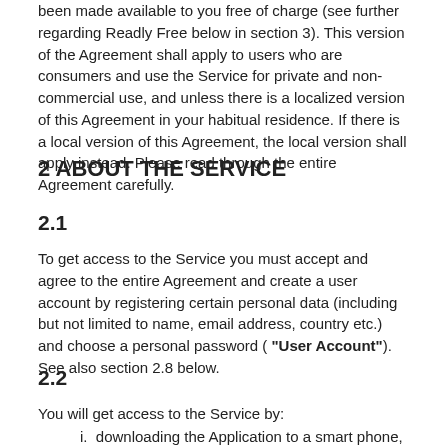been made available to you free of charge (see further regarding Readly Free below in section 3). This version of the Agreement shall apply to users who are consumers and use the Service for private and non-commercial use, and unless there is a localized version of this Agreement in your habitual residence. If there is a local version of this Agreement, the local version shall apply instead. Please read through the entire Agreement carefully.
2 ABOUT THE SERVICE
2.1
To get access to the Service you must accept and agree to the entire Agreement and create a user account by registering certain personal data (including but not limited to name, email address, country etc.) and choose a personal password ( "User Account"). See also section 2.8 below.
2.2
You will get access to the Service by:
i. downloading the Application to a smart phone, tablet or computer ( "Mobile Device") (or by access through the Website);